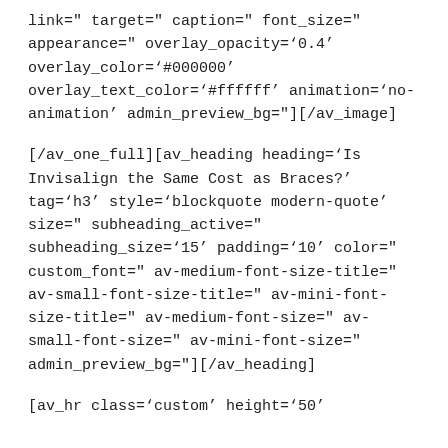link=" target=" caption=" font_size=" appearance=" overlay_opacity='0.4' overlay_color='#000000' overlay_text_color='#ffffff' animation='no-animation' admin_preview_bg="][/av_image]
[/av_one_full][av_heading heading='Is Invisalign the Same Cost as Braces?' tag='h3' style='blockquote modern-quote' size=" subheading_active=" subheading_size='15' padding='10' color=" custom_font=" av-medium-font-size-title=" av-small-font-size-title=" av-mini-font-size-title=" av-medium-font-size=" av-small-font-size=" av-mini-font-size=" admin_preview_bg="][/av_heading]
[av_hr class='custom' height='50'